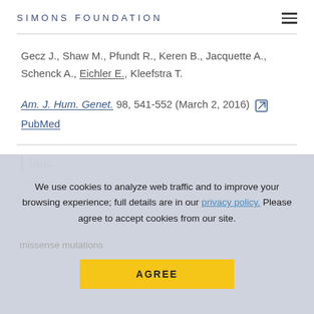SIMONS FOUNDATION
Gecz J., Shaw M., Pfundt R., Keren B., Jacquette A., Schenck A., Eichler E., Kleefstra T.
Am. J. Hum. Genet. 98, 541-552 (March 2, 2016) [external link] PubMed
Tags
de novo... disability
missense mutations
We use cookies to analyze web traffic and to improve your browsing experience; full details are in our privacy policy. Please agree to accept cookies from our site.